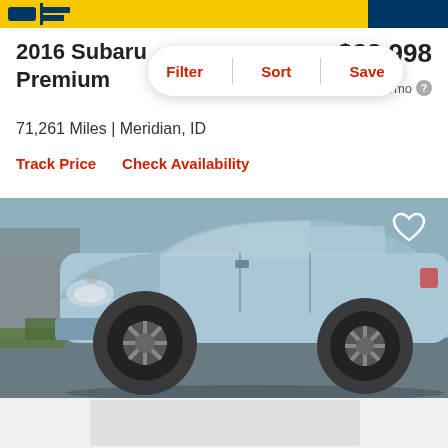CarGurus header bar
2016 Subaru Premium
$23,998
est. $346/mo
Filter | Sort | Save
71,261 Miles | Meridian, ID
Track Price    Check Availability
[Figure (photo): Light blue 2016 Subaru Crosstrek Premium SUV parked in a lot, side/front angle view showing alloy wheels and headlights]
[Figure (other): Partially visible placeholder image at bottom of page]